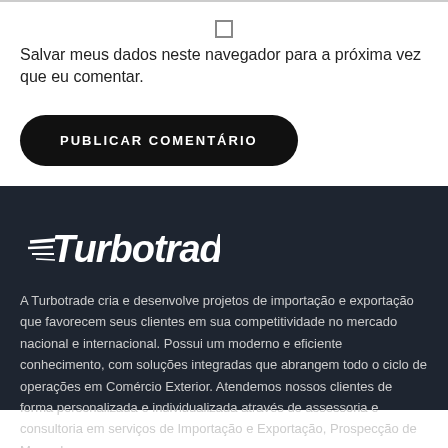Salvar meus dados neste navegador para a próxima vez que eu comentar.
PUBLICAR COMENTÁRIO
[Figure (logo): Turbotrade logo in white italic stylized font with speed lines on dark background]
A Turbotrade cria e desenvolve projetos de importação e exportação que favorecem seus clientes em sua competitividade no mercado nacional e internacional. Possui um moderno e eficiente conhecimento, com soluções integradas que abrangem todo o ciclo de operações em Comércio Exterior. Atendemos nossos clientes de forma personalizada e individualizada através de assessoria e consultoria em serviços de Importação e Exportação, Prospecção de Mercado